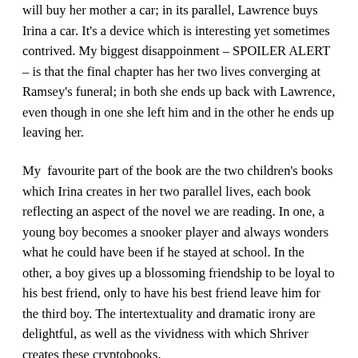will buy her mother a car; in its parallel, Lawrence buys Irina a car. It's a device which is interesting yet sometimes contrived. My biggest disappoinment – SPOILER ALERT – is that the final chapter has her two lives converging at Ramsey's funeral; in both she ends up back with Lawrence, even though in one she left him and in the other he ends up leaving her.
My  favourite part of the book are the two children's books which Irina creates in her two parallel lives, each book reflecting an aspect of the novel we are reading. In one, a young boy becomes a snooker player and always wonders what he could have been if he stayed at school. In the other, a boy gives up a blossoming friendship to be loyal to his best friend, only to have his best friend leave him for the third boy. The intertextuality and dramatic irony are delightful, as well as the vividness with which Shriver creates these cryptobooks.